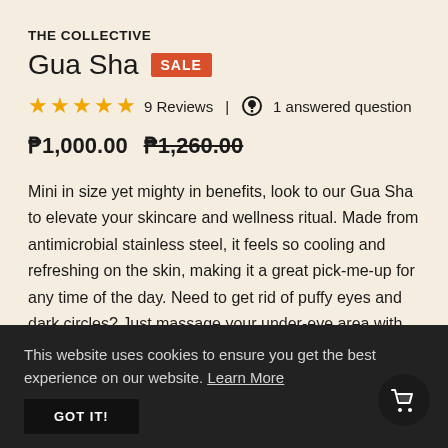THE COLLECTIVE
Gua Sha SALE
★★★★★ 9 Reviews | 1 answered question
₱1,000.00  ₱1,260.00
Mini in size yet mighty in benefits, look to our Gua Sha to elevate your skincare and wellness ritual. Made from antimicrobial stainless steel, it feels so cooling and refreshing on the skin, making it a great pick-me-up for any time of the day. Need to get rid of puffy eyes and dark circles? Just massage your under-eye area with our Gua Sha. Ate too many chips and feel bloated from water retention? Simply glide the tool around the areas you'd like to target. With an endless list of perks, including relieving inflammation and boosting collagen
This website uses cookies to ensure you get the best experience on our website. Learn More
GOT IT!